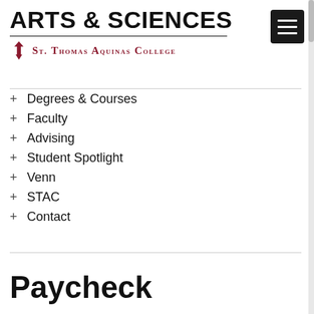ARTS & SCIENCES | St. Thomas Aquinas College
+ Degrees & Courses
+ Faculty
+ Advising
+ Student Spotlight
+ Venn
+ STAC
+ Contact
Paycheck